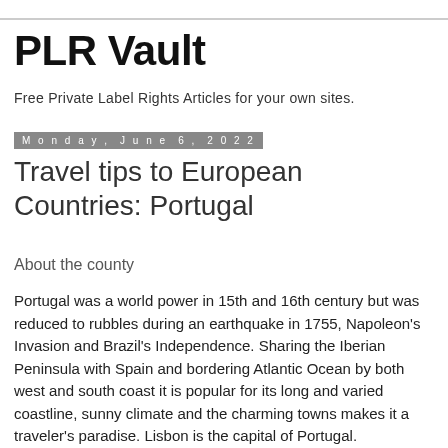PLR Vault
Free Private Label Rights Articles for your own sites.
Monday, June 6, 2022
Travel tips to European Countries: Portugal
About the county
Portugal was a world power in 15th and 16th century but was reduced to rubbles during an earthquake in 1755, Napoleon's Invasion and Brazil's Independence. Sharing the Iberian Peninsula with Spain and bordering Atlantic Ocean by both west and south coast it is popular for its long and varied coastline, sunny climate and the charming towns makes it a traveler's paradise. Lisbon is the capital of Portugal.